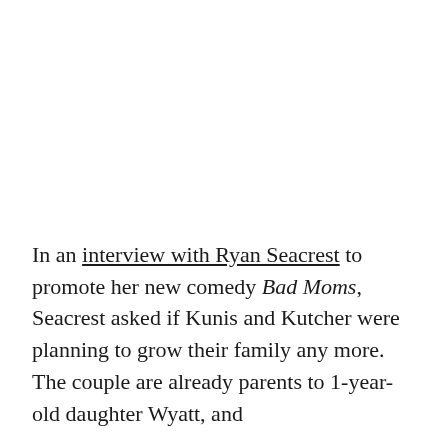In an interview with Ryan Seacrest to promote her new comedy Bad Moms, Seacrest asked if Kunis and Kutcher were planning to grow their family any more. The couple are already parents to 1-year-old daughter Wyatt, and